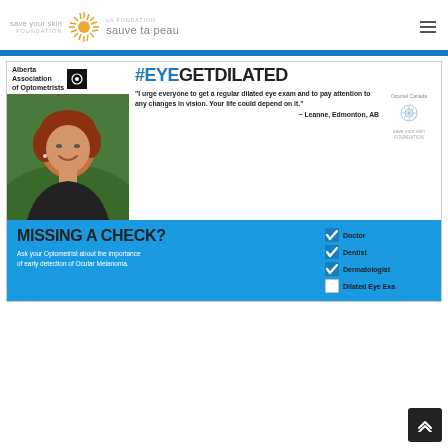save your skin FOUNDATION | LA FONDATION sauve ta peau
[Figure (infographic): #EYEGETDILATED campaign card featuring Alberta Association of Optometrists logo, photo of Leanne from Edmonton AB, quote about dilated eye exams, Ocumel Canada and Save Your Skin Foundation logos, and a 'Missing a Check?' checklist for Doctor, Dentist, Dermatologist, Dilated Eye Exam]
"I urge everyone to get a regular dilated eye exam and to pay attention to any changes in vision. Your life could depend on it." ~ Leanne, Edmonton, AB
MISSING A CHECK? Ask your Optometrist about the importance of early detection of Ocular Melanoma.
Doctor
Dentist
Dermatologist
Dilated Eye Exam